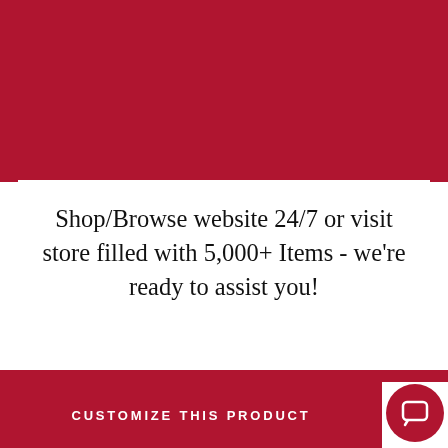[Figure (illustration): Dark red background top band with subtle texture]
Shop/Browse website 24/7 or visit store filled with 5,000+ Items - we're ready to assist you!
[Figure (logo): Weaver Furniture Sales logo — white oval outline with cursive 'Weaver' text and 'FURNITURE SALES' in caps below, on dark red background]
Back to top
CUSTOMIZE THIS PRODUCT